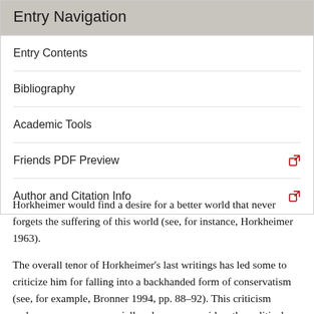Entry Navigation
Entry Contents
Bibliography
Academic Tools
Friends PDF Preview
Author and Citation Info
Horkheimer would find a desire for a better world that never forgets the suffering of this world (see, for instance, Horkheimer 1963).
The overall tenor of Horkheimer's last writings has led some to criticize him for falling into a backhanded form of conservatism (see, for example, Bronner 1994, pp. 88–92). This criticism makes some sense, especially when one considers the political climate of the late 1960s that served as a backdrop for his latest work. It is pertinent, along these lines, that he was generally opposed to the